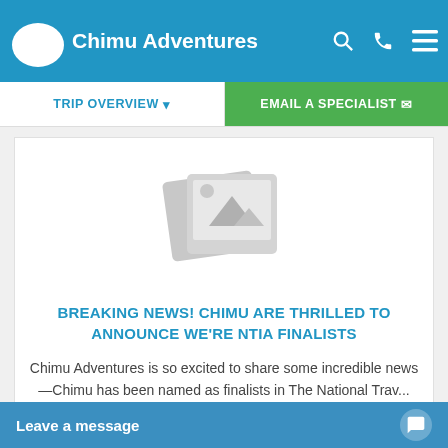Chimu Adventures
TRIP OVERVIEW
EMAIL A SPECIALIST
[Figure (illustration): Placeholder image icon showing two overlapping image frames with a mountain/photo icon inside]
BREAKING NEWS! CHIMU ARE THRILLED TO ANNOUNCE WE'RE NTIA FINALISTS
Chimu Adventures is so excited to share some incredible news—Chimu has been named as finalists in The National Trav...
← 1 2 3 4 5 6 7 8 9 10 →
Leave a message